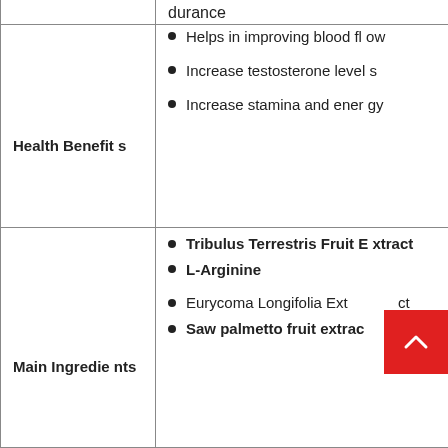|  |  |
| --- | --- |
| Health Benefits | • Helps in improving blood flow
• Increase testosterone levels
• Increase stamina and energy |
| Main Ingredients | • Tribulus Terrestris Fruit Extract
• L-Arginine
• Eurycoma Longifolia Extract
• Saw palmetto fruit extract |